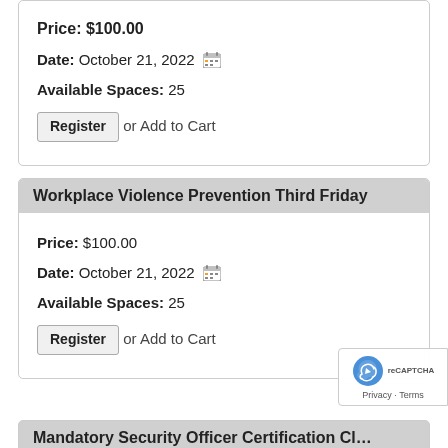Price: $100.00
Date: October 21, 2022
Available Spaces: 25
Register or Add to Cart
Workplace Violence Prevention Third Friday
Price: $100.00
Date: October 21, 2022
Available Spaces: 25
Register or Add to Cart
Mandatory Security Officer Certification Cl…